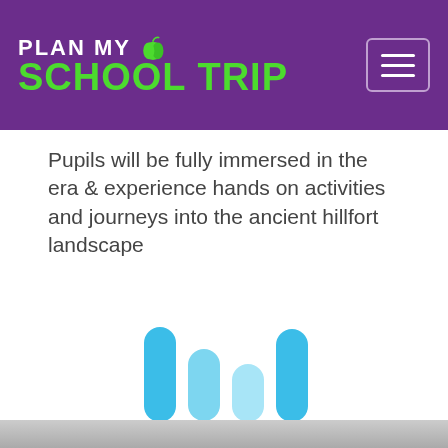PLAN MY SCHOOL TRIP
Pupils will be fully immersed in the era & experience hands on activities and journeys into the ancient hillfort landscape
[Figure (other): Loading animation with four vertical rounded bars in shades of blue/cyan of varying heights, resembling a bar chart loader or audio waveform indicator]